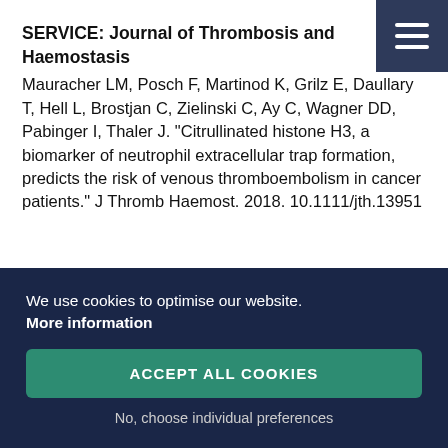SERVICE: Journal of Thrombosis and Haemostasis Mauracher LM, Posch F, Martinod K, Grilz E, Daullary T, Hell L, Brostjan C, Zielinski C, Ay C, Wagner DD, Pabinger I, Thaler J. "Citrullinated histone H3, a biomarker of neutrophil extracellular trap formation, predicts the risk of venous thromboembolism in cancer patients." J Thromb Haemost. 2018. 10.1111/jth.13951
We use cookies to optimise our website.
More information
ACCEPT ALL COOKIES
No, choose individual preferences